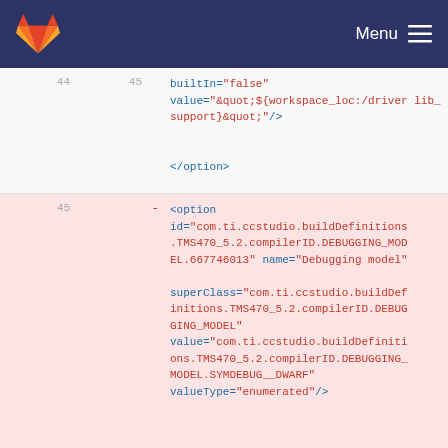GitLab Menu
44  45  builtIn="false" value="&quot;${workspace_loc:/driver lib_support}&quot;"/>

</option>
45  -  <option id="com.ti.ccstudio.buildDefinitions.TMS470_5.2.compilerID.DEBUGGING_MODEL.667746013" name="Debugging model" superClass="com.ti.ccstudio.buildDefinitions.TMS470_5.2.compilerID.DEBUGGING_MODEL" value="com.ti.ccstudio.buildDefinitions.TMS470_5.2.compilerID.DEBUGGING_MODEL.SYMDEBUG__DWARF" valueType="enumerated"/>